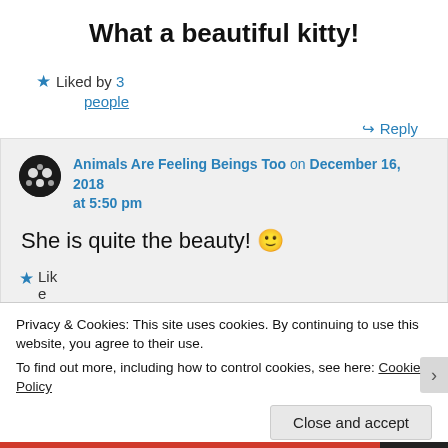What a beautiful kitty!
Liked by 3 people
↪ Reply
Animals Are Feeling Beings Too on December 16, 2018 at 5:50 pm
She is quite the beauty! 🙂
Lik e
Privacy & Cookies: This site uses cookies. By continuing to use this website, you agree to their use.
To find out more, including how to control cookies, see here: Cookie Policy
Close and accept